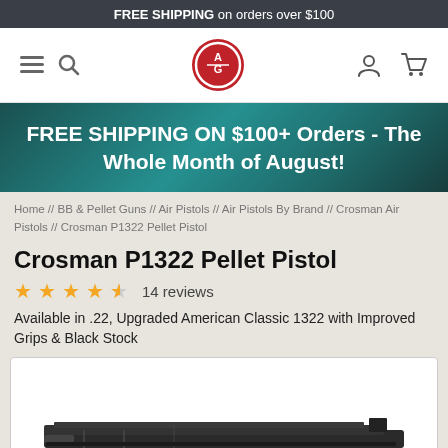FREE SHIPPING on orders over $100
[Figure (logo): AG logo circle with hamburger menu, search icon, user icon, and cart icon — website navigation bar]
FREE SHIPPING ON $100+ Orders - The Whole Month of August!
Home // BB & Pellet Guns // Air Pistols // Air Pistols By Brand // Crosman Air Pistols // Crosman P1322 Pellet Pistol
Crosman P1322 Pellet Pistol
★★★★½ 14 reviews
Available in .22, Upgraded American Classic 1322 with Improved Grips & Black Stock
[Figure (photo): Close-up photo of a Crosman P1322 pellet pistol, showing the barrel and top slide, dark/black finish]